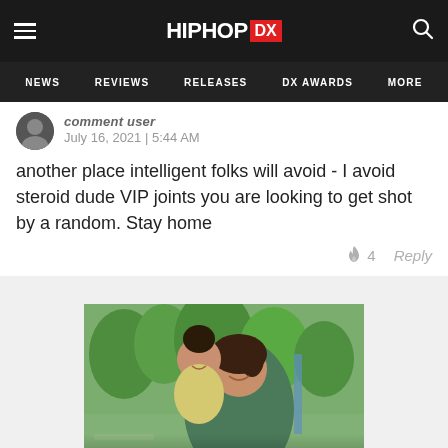HIPHOP DX — NEWS | REVIEWS | RELEASES | DX AWARDS | MORE
July 16, 2021 | 5:44 AM
another place intelligent folks will avoid - I avoid steroid dude VIP joints you are looking to get shot by a random. Stay home
🔥 4   Reply
[Figure (photo): A smiling mother holding a toddler outdoors with trees in the background, with 'The COVID-19' text overlay at the bottom]